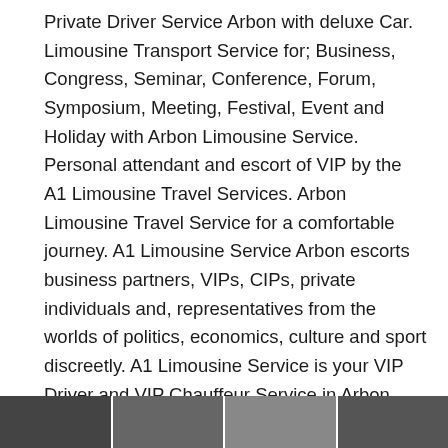Private Driver Service Arbon with deluxe Car. Limousine Transport Service for; Business, Congress, Seminar, Conference, Forum, Symposium, Meeting, Festival, Event and Holiday with Arbon Limousine Service. Personal attendant and escort of VIP by the A1 Limousine Travel Services. Arbon Limousine Travel Service for a comfortable journey. A1 Limousine Service Arbon escorts business partners, VIPs, CIPs, private individuals and, representatives from the worlds of politics, economics, culture and sport discreetly. A1 Limousine Service is your VIP Driver and VIP Chauffeur Service in Arbon. Limousine Service Arbon, the service with personal care. Holiday Limousine Travel Service Arbon. Your A1 Business Limousine Service Arbon, Private Driver Service Arbon and Chauffeur Service Arbon.
[Figure (photo): A horizontal strip of photos at the bottom of the page showing limousine/car service related images.]